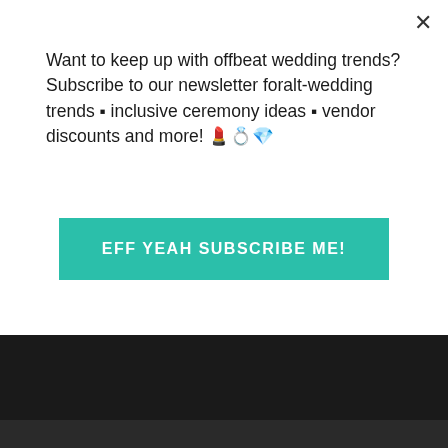Want to keep up with offbeat wedding trends?Subscribe to our newsletter for​alt-wedding trends • inclusive ceremony ideas • vendor discounts and more! Ὀ4ὈdὈe
EFF YEAH SUBSCRIBE ME!
Contact
Copyright © 2003 - 2021 Offbeat Empire. All rights reserved. Unauthorized reproduction in part or in whole is prohibited.
AN ELITE CAFEMEDIA PUBLISHER
[Figure (screenshot): Advertisement banner for Topgolf - The Perfect Family Activity]